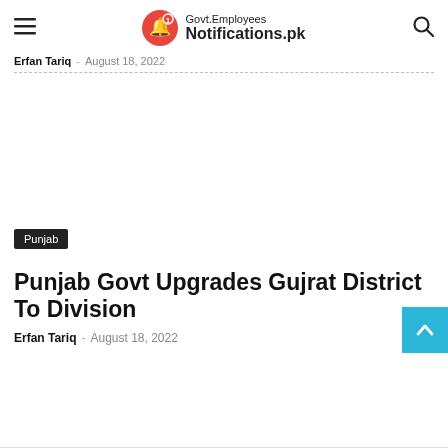Govt.Employees Notifications.pk
Erfan Tariq · August 18, 2022
[Figure (illustration): White/blank advertisement or image placeholder area]
Punjab
Punjab Govt Upgrades Gujrat District To Division
Erfan Tariq · August 18, 2022